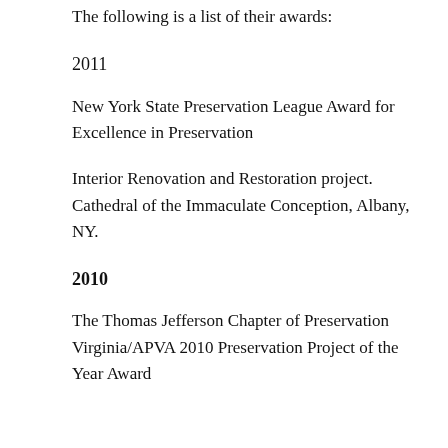The following is a list of their awards:
2011
New York State Preservation League Award for Excellence in Preservation
Interior Renovation and Restoration project. Cathedral of the Immaculate Conception, Albany, NY.
2010
The Thomas Jefferson Chapter of Preservation Virginia/APVA 2010 Preservation Project of the Year Award